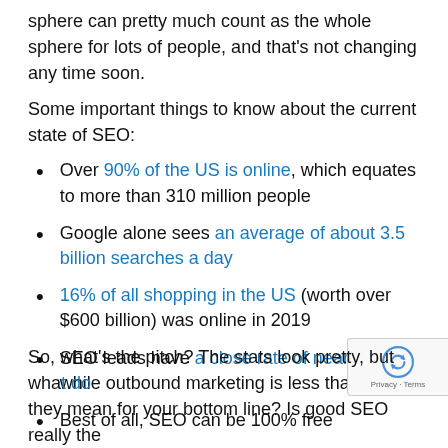sphere can pretty much count as the whole sphere for lots of people, and that's not changing any time soon.
Some important things to know about the current state of SEO:
Over 90% of the US is online, which equates to more than 310 million people
Google alone sees an average of about 3.5 billion searches a day
16% of all shopping in the US (worth over $600 billion) was online in 2019
SEO leads have a close rate of nearly 15% while outbound marketing is less than 2%
Best of all, SEO can be 100% free
So, what's the pitch? The stats look pretty, but what do they mean for your bottom line? Is good SEO really the